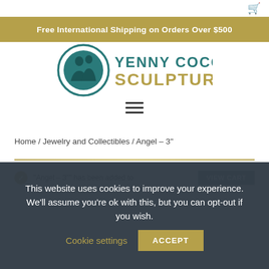Free International Shipping on Orders Over $500
[Figure (logo): Yenny Cocq Sculpture logo — circular teal emblem with two figures, company name in teal and gold text]
Home / Jewelry and Collectibles / Angel – 3"
"Angel – 3"" has been added to your cart.
This website uses cookies to improve your experience. We'll assume you're ok with this, but you can opt-out if you wish.   Cookie settings   ACCEPT